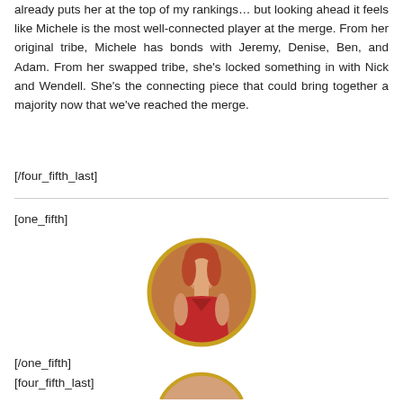already puts her at the top of my rankings… but looking ahead it feels like Michele is the most well-connected player at the merge. From her original tribe, Michele has bonds with Jeremy, Denise, Ben, and Adam. From her swapped tribe, she's locked something in with Nick and Wendell. She's the connecting piece that could bring together a majority now that we've reached the merge.
[/four_fifth_last]
[one_fifth]
[Figure (photo): Circular portrait photo of a woman with red hair wearing a red dress, bordered with a gold/yellow circle outline]
[/one_fifth]
[four_fifth_last]